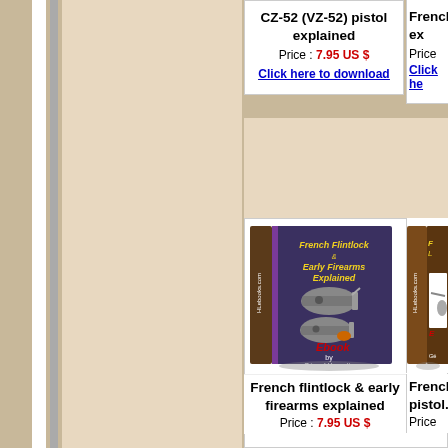CZ-52 (VZ-52) pistol explained
Price : 7.95 US $
Click here to download
French...
Price...
Click he...
[Figure (illustration): Book cover: French Flintlock & Early Firearms Explained, Ebook by Gérard Henrotin, HLebooks.com]
[Figure (illustration): Partial book cover on right side]
French flintlock & early firearms explained
Price : 7.95 US $
French... pistol...
Price...